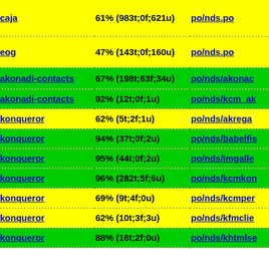| Package | Coverage | Path |
| --- | --- | --- |
| caja | 61% (983t;0f;621u) | po/nds.po |
| eog | 47% (143t;0f;160u) | po/nds.po |
| akonadi-contacts | 67% (198t;63f;34u) | po/nds/akonac... |
| akonadi-contacts | 92% (12t;0f;1u) | po/nds/kcm_ak... |
| konqueror | 62% (5t;2f;1u) | po/nds/akrega... |
| konqueror | 94% (37t;0f;2u) | po/nds/babelfis... |
| konqueror | 95% (44t;0f;2u) | po/nds/imgalle... |
| konqueror | 96% (282t;5f;6u) | po/nds/kcmkon... |
| konqueror | 69% (9t;4f;0u) | po/nds/kcmper... |
| konqueror | 62% (10t;3f;3u) | po/nds/kfmclie... |
| konqueror | 88% (16t;2f;0u) | po/nds/khtmlse... |